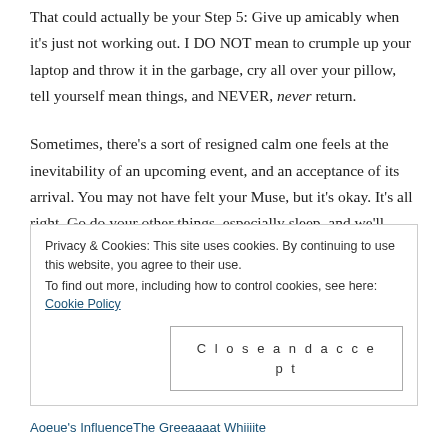That could actually be your Step 5: Give up amicably when it's just not working out. I DO NOT mean to crumple up your laptop and throw it in the garbage, cry all over your pillow, tell yourself mean things, and NEVER, never return.
Sometimes, there's a sort of resigned calm one feels at the inevitability of an upcoming event, and an acceptance of its arrival. You may not have felt your Muse, but it's okay. It's all right. Go do your other things, especially sleep, and we'll come back later.
Privacy & Cookies: This site uses cookies. By continuing to use this website, you agree to their use.
To find out more, including how to control cookies, see here: Cookie Policy
[Close and accept]
Aoeue's Influence | The Greeaaaat Whiiiite